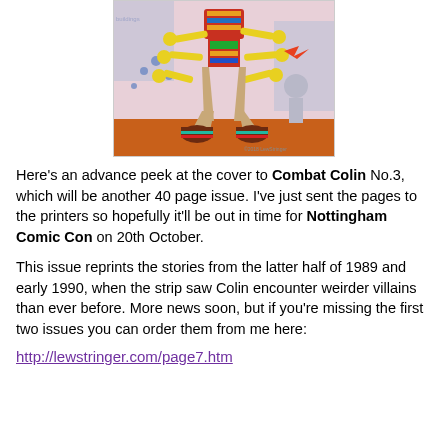[Figure (illustration): Comic book cover illustration showing a multi-armed robot/alien character with yellow arms wearing flared trousers and large platform shoes with red and teal stripes, against a blue and pink detailed background with other characters]
Here's an advance peek at the cover to Combat Colin No.3, which will be another 40 page issue. I've just sent the pages to the printers so hopefully it'll be out in time for Nottingham Comic Con on 20th October.
This issue reprints the stories from the latter half of 1989 and early 1990, when the strip saw Colin encounter weirder villains than ever before. More news soon, but if you're missing the first two issues you can order them from me here:
http://lewstringer.com/page7.htm